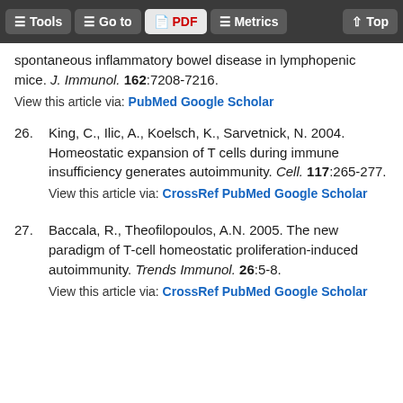Tools | Go to | PDF | Metrics | Top
spontaneous inflammatory bowel disease in lymphopenic mice. J. Immunol. 162:7208-7216.
View this article via: PubMed Google Scholar
26. King, C., Ilic, A., Koelsch, K., Sarvetnick, N. 2004. Homeostatic expansion of T cells during immune insufficiency generates autoimmunity. Cell. 117:265-277.
View this article via: CrossRef PubMed Google Scholar
27. Baccala, R., Theofilopoulos, A.N. 2005. The new paradigm of T-cell homeostatic proliferation-induced autoimmunity. Trends Immunol. 26:5-8.
View this article via: CrossRef PubMed Google Scholar